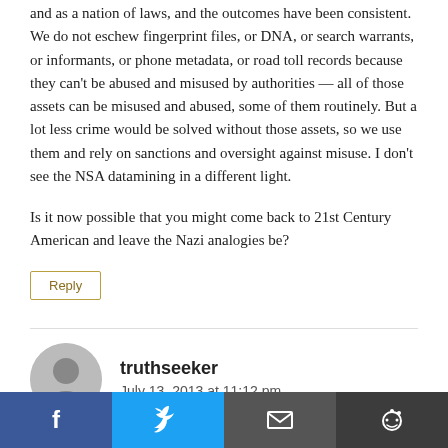and as a nation of laws, and the outcomes have been consistent. We do not eschew fingerprint files, or DNA, or search warrants, or informants, or phone metadata, or road toll records because they can't be abused and misused by authorities — all of those assets can be misused and abused, some of them routinely. But a lot less crime would be solved without those assets, so we use them and rely on sanctions and oversight against misuse. I don't see the NSA datamining in a different light.
Is it now possible that you might come back to 21st Century American and leave the Nazi analogies be?
Reply
truthseeker
July 13, 2013 at 11:12 pm